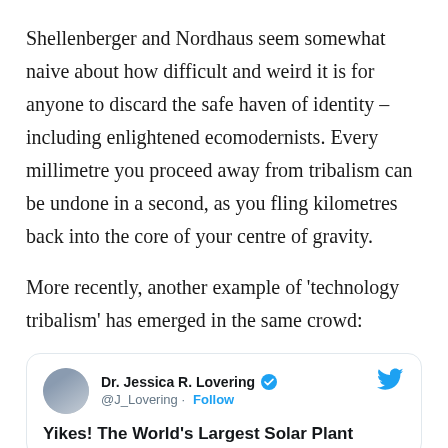Shellenberger and Nordhaus seem somewhat naive about how difficult and weird it is for anyone to discard the safe haven of identity – including enlightened ecomodernists. Every millimetre you proceed away from tribalism can be undone in a second, as you fling kilometres back into the core of your centre of gravity.
More recently, another example of 'technology tribalism' has emerged in the same crowd:
[Figure (screenshot): Embedded tweet from Dr. Jessica R. Lovering (@J_Lovering) with verified badge and Follow button, showing the beginning of tweet text: 'Yikes! The World's Largest Solar Plant']